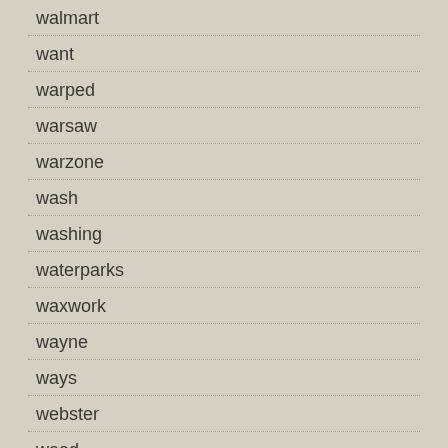walmart
want
warped
warsaw
warzone
wash
washing
waterparks
waxwork
wayne
ways
webster
weed
weeknd
weezer